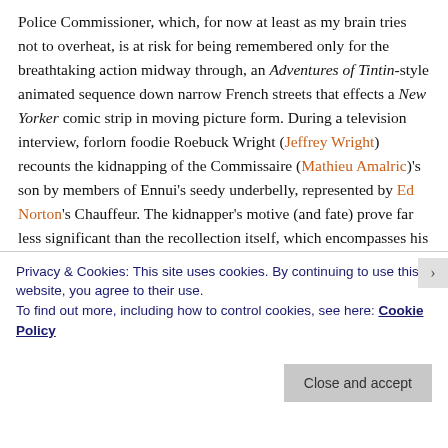Police Commissioner, which, for now at least as my brain tries not to overheat, is at risk for being remembered only for the breathtaking action midway through, an Adventures of Tintin-style animated sequence down narrow French streets that effects a New Yorker comic strip in moving picture form. During a television interview, forlorn foodie Roebuck Wright (Jeffrey Wright) recounts the kidnapping of the Commissaire (Mathieu Amalric)'s son by members of Ennui's seedy underbelly, represented by Ed Norton's Chauffeur. The kidnapper's motive (and fate) prove far less significant than the recollection itself, which encompasses his painful backstory of how he, an openly gay writer, came to be hired by the Dispatch.
Privacy & Cookies: This site uses cookies. By continuing to use this website, you agree to their use.
To find out more, including how to control cookies, see here: Cookie Policy